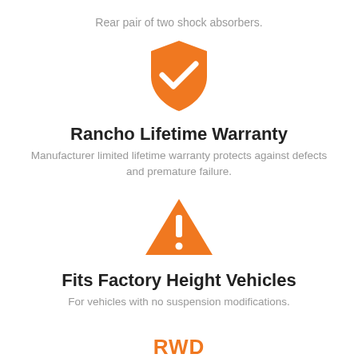Rear pair of two shock absorbers.
[Figure (illustration): Orange shield icon with white checkmark]
Rancho Lifetime Warranty
Manufacturer limited lifetime warranty protects against defects and premature failure.
[Figure (illustration): Orange triangle warning/alert icon with white exclamation mark]
Fits Factory Height Vehicles
For vehicles with no suspension modifications.
[Figure (logo): RWD ONLY text logo in orange bold uppercase letters]